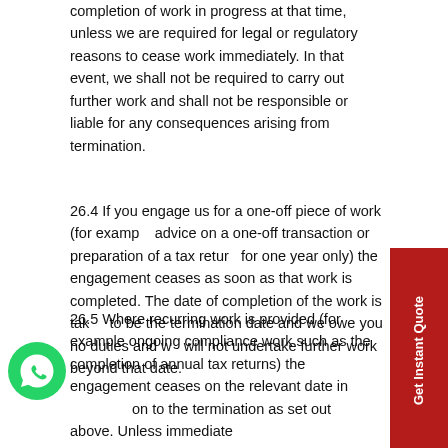completion of work in progress at that time, unless we are required for legal or regulatory reasons to cease work immediately. In that event, we shall not be required to carry out further work and shall not be responsible or liable for any consequences arising from termination.
26.4 If you engage us for a one-off piece of work (for example advice on a one-off transaction or preparation of a tax return for one year only) the engagement ceases as soon as that work is completed. The date of completion of the work is taken to be the termination date and we owe you no duties and we will not undertake further work beyond that date.
26.5 Where recurring work is provided (for example ongoing compliance work such as the completion of annual tax returns) the engagement ceases on the relevant date in relation to the termination as set out above. Unless immediate termination applies, in practice this means that the relevant